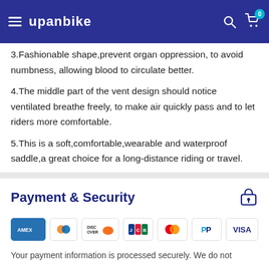UPANBIKE
3.Fashionable shape,prevent organ oppression, to avoid numbness, allowing blood to circulate better.
4.The middle part of the vent design should notice ventilated breathe freely, to make air quickly pass and to let riders more comfortable.
5.This is a soft,comfortable,wearable and waterproof saddle,a great choice for a long-distance riding or travel.
Payment & Security
[Figure (logo): Payment method logos: AMEX, Diners Club, Discover, JCB, Mastercard, PayPal, VISA]
Your payment information is processed securely. We do not